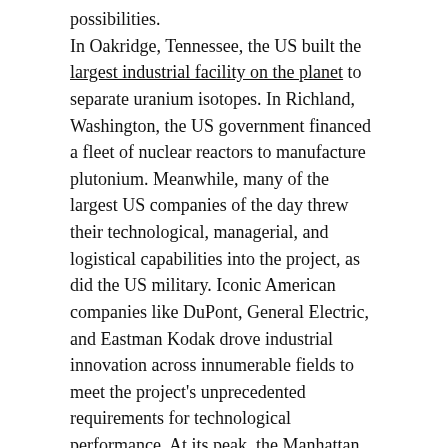possibilities.
In Oakridge, Tennessee, the US built the largest industrial facility on the planet to separate uranium isotopes. In Richland, Washington, the US government financed a fleet of nuclear reactors to manufacture plutonium. Meanwhile, many of the largest US companies of the day threw their technological, managerial, and logistical capabilities into the project, as did the US military. Iconic American companies like DuPont, General Electric, and Eastman Kodak drove industrial innovation across innumerable fields to meet the project's unprecedented requirements for technological performance. At its peak, the Manhattan Project employed 129,000 people, including hundreds of the nation's top scientists.
[Figure (other): Small image icon (play button/thumbnail) for a news article link]
Biden and Western leaders plan new ways to punish Russia for its war in Ukraine at emergency summits
Even an unprecedented global effort to develop